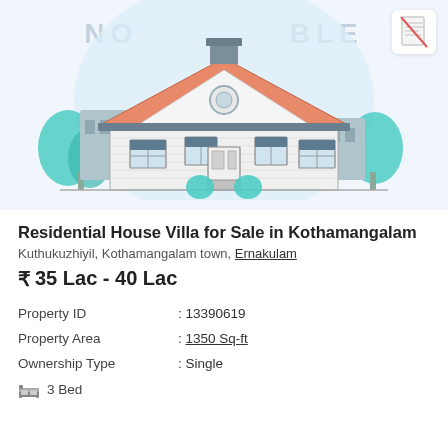[Figure (illustration): Illustration of a residential house/villa with orange roof, white walls, windows, door, teal trees on sides, light blue circular background, watermark text 'NOT AVAILABLE' at top, and a no-image icon in top-right corner.]
Residential House Villa for Sale in Kothamangalam
Kuthukuzhiyil, Kothamangalam town, Ernakulam
₹ 35 Lac - 40 Lac
| Property ID | : 13390619 |
| Property Area | : 1350 Sq-ft |
| Ownership Type | : Single |
🛏 3 Bed